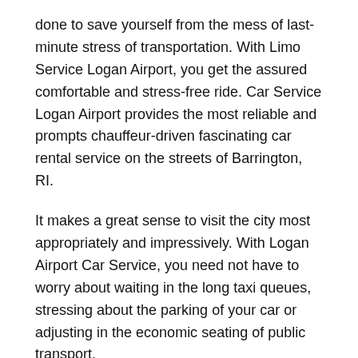done to save yourself from the mess of last-minute stress of transportation. With Limo Service Logan Airport, you get the assured comfortable and stress-free ride. Car Service Logan Airport provides the most reliable and prompts chauffeur-driven fascinating car rental service on the streets of Barrington, RI.
It makes a great sense to visit the city most appropriately and impressively. With Logan Airport Car Service, you need not have to worry about waiting in the long taxi queues, stressing about the parking of your car or adjusting in the economic seating of public transport.
At Car Service Boston Airport, we make it a point to